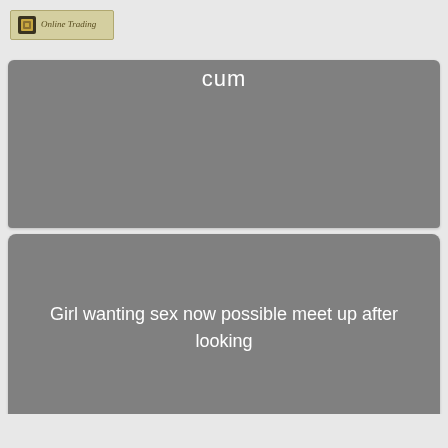[Figure (logo): Online Trading logo with small chip/circuit icon and italic text]
[Figure (screenshot): Gray rounded rectangle card with white text reading 'cum' at top]
[Figure (screenshot): Gray rounded rectangle card with white text reading 'Girl wanting sex now possible meet up after looking']